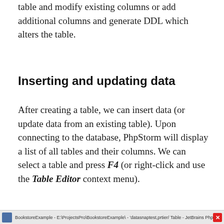table and modify existing columns or add additional columns and generate DDL which alters the table.
Inserting and updating data
After creating a table, we can insert data (or update data from an existing table). Upon connecting to the database, PhpStorm will display a list of all tables and their columns. We can select a table and press F4 (or right-click and use the Table Editor context menu).
[Figure (screenshot): A screenshot strip showing a PhpStorm window title bar with project path and a red close button]